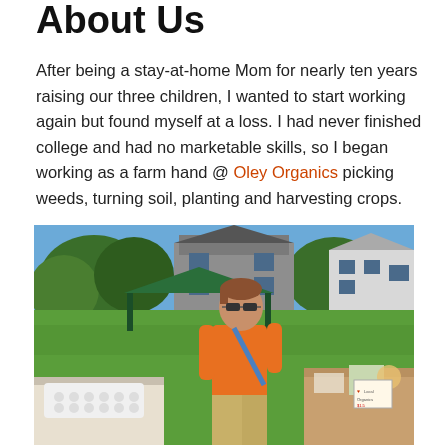About Us
After being a stay-at-home Mom for nearly ten years raising our three children, I wanted to start working again but found myself at a loss. I had never finished college and had no marketable skills, so I began working as a farm hand @ Oley Organics picking weeds, turning soil, planting and harvesting crops.
[Figure (photo): A woman in an orange shirt and sunglasses standing at an outdoor market booth with tables, a green tent canopy, and a house and trees visible in the background on a sunny day.]